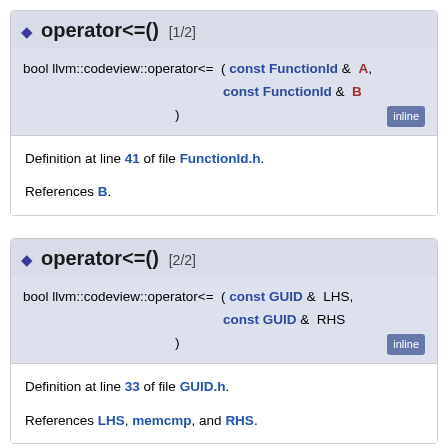operator<=() [1/2]
bool llvm::codeview::operator<= ( const FunctionId & A, const FunctionId & B )
Definition at line 41 of file FunctionId.h.
References B.
operator<=() [2/2]
bool llvm::codeview::operator<= ( const GUID & LHS, const GUID & RHS )
Definition at line 33 of file GUID.h.
References LHS, memcmp, and RHS.